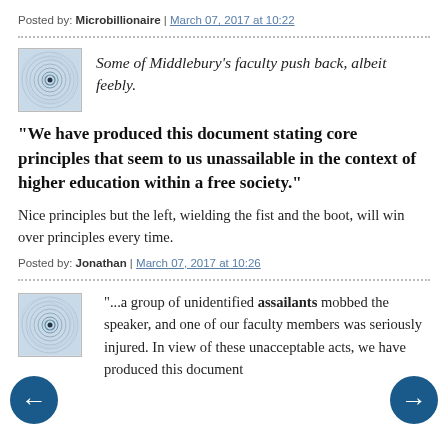Posted by: Microbillionaire | March 07, 2017 at 10:22
[Figure (illustration): Circular spiral avatar icon with concentric rings and a dark center dot, light blue/grey color scheme]
Some of Middlebury's faculty push back, albeit feebly.
"We have produced this document stating core principles that seem to us unassailable in the context of higher education within a free society."
Nice principles but the left, wielding the fist and the boot, will win over principles every time.
Posted by: Jonathan | March 07, 2017 at 10:26
[Figure (illustration): Circular spiral avatar icon with concentric rings and a dark center dot, light blue/grey color scheme]
"...a group of unidentified assailants mobbed the speaker, and one of our faculty members was seriously injured. In view of these unacceptable acts, we have produced this document